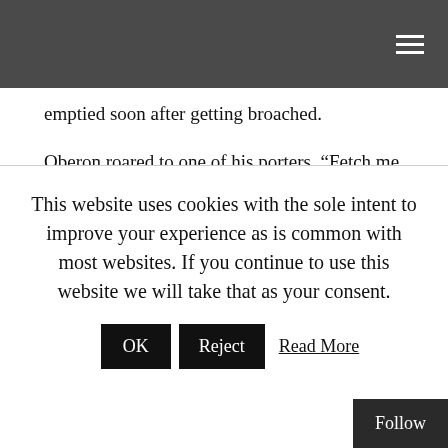emptied soon after getting broached.
Oberon roared to one of his porters, “Fetch me some lily bundles. Six will do for now.” Lily bundles were a favorite food of the fairies and consisted of a measure of dried pond scum wrapped in a lily pad and toasted. Dried pond scum had to be used because it was too early to harvest fresh pond scum.
“You,” Oberon roared at another porter, “get me a drink.”
This website uses cookies with the sole intent to improve your experience as is common with most websites. If you continue to use this website we will take that as your consent.
OK   Reject   Read More
Follow